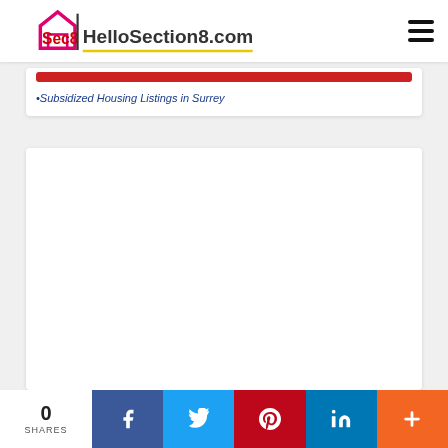HelloSection8.com
•Subsidized Housing Listings in Surrey
[Figure (other): Empty white content card / advertisement placeholder]
0 SHARES — Facebook, Twitter, Pinterest, LinkedIn, Plus social share buttons